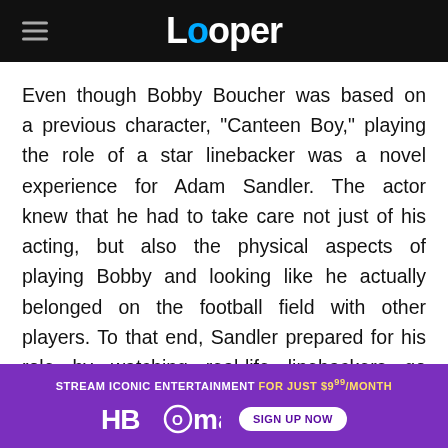Looper
Even though Bobby Boucher was based on a previous character, "Canteen Boy," playing the role of a star linebacker was a novel experience for Adam Sandler. The actor knew that he had to take care not just of his acting, but also the physical aspects of playing Bobby and looking like he actually belonged on the football field with other players. To that end, Sandler prepared for his role by watching real-life linebackers go about their work during football games. One player whom the actor paid special attention to was former All-Pro NFL linebacker [text continues, partially obscured by ad] ...even
[Figure (infographic): HBO Max advertisement overlay: 'STREAM ICONIC ENTERTAINMENT FOR JUST $9.99/MONTH' with HBO Max logo and 'SIGN UP NOW' button on purple background]